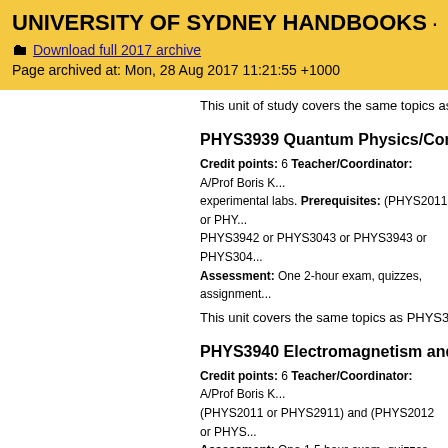UNIVERSITY OF SYDNEY HANDBOOKS - 2017
Download full 2017 archive
Page archived at: Mon, 28 Aug 2017 11:21:55 +1000
This unit of study covers the same topics as P...
PHYS3939 Quantum Physics/Comp. Ph...
Credit points: 6 Teacher/Coordinator: A/Prof Boris K... experimental labs. Prerequisites: (PHYS2011 or PHY... PHYS3942 or PHYS3043 or PHYS3943 or PHYS304... Assessment: One 2-hour exam, quizzes, assignment...
This unit covers the same topics as PHYS303...
PHYS3940 Electromagnetism and Phys...
Credit points: 6 Teacher/Coordinator: A/Prof Boris K... (PHYS2011 or PHYS2911) and (PHYS2012 or PHYS... Assessment: One 1.5 hour exam, quizzes, assignme...
This unit covers the same topics as PHYS304...
Textbooks
Griffiths, DJ. Introduction to Electrodynamics. Third Ed...